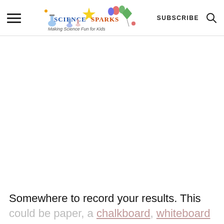Science Sparks — SUBSCRIBE
Somewhere to record your results. This could be paper, a chalkboard, whiteboard